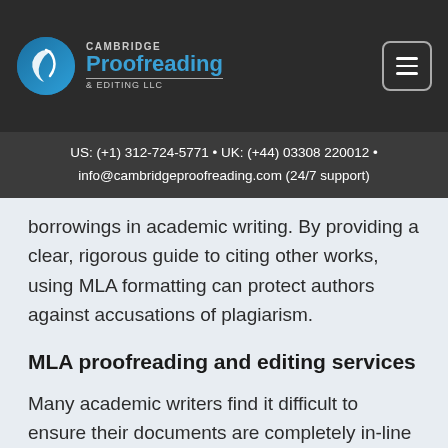CAMBRIDGE Proofreading & EDITING LLC
US: (+1) 312-724-5771 • UK: (+44) 03308 220012 • info@cambridgeproofreading.com (24/7 support)
borrowings in academic writing. By providing a clear, rigorous guide to citing other works, using MLA formatting can protect authors against accusations of plagiarism.
MLA proofreading and editing services
Many academic writers find it difficult to ensure their documents are completely in-line with the Modern Language Association style guidelines. Indeed, writing to any format requires substantial practice in order to fully internalise the finer details